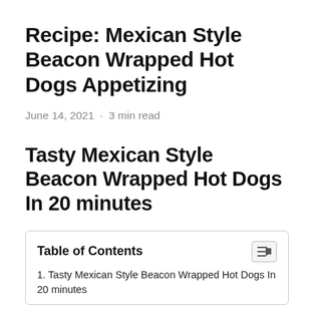Recipe: Mexican Style Beacon Wrapped Hot Dogs Appetizing
June 14, 2021 · 3 min read
Tasty Mexican Style Beacon Wrapped Hot Dogs In 20 minutes
| Table of Contents |
| --- |
| 1. Tasty Mexican Style Beacon Wrapped Hot Dogs In 20 minutes |